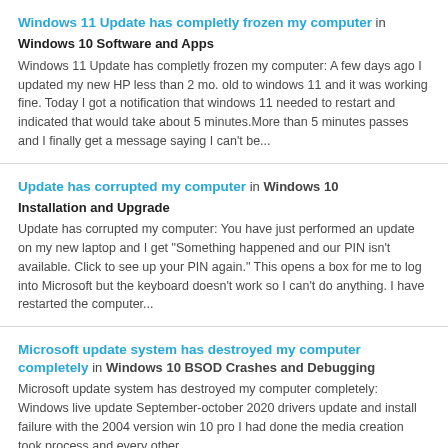Windows 11 Update has completly frozen my computer in Windows 10 Software and Apps
Windows 11 Update has completly frozen my computer: A few days ago I updated my new HP less than 2 mo. old to windows 11 and it was working fine. Today I got a notification that windows 11 needed to restart and indicated that would take about 5 minutes.More than 5 minutes passes and I finally get a message saying I can't be...
Update has corrupted my computer in Windows 10 Installation and Upgrade
Update has corrupted my computer: You have just performed an update on my new laptop and I get "Something happened and our PIN isn't available. Click to see up your PIN again." This opens a box for me to log into Microsoft but the keyboard doesn't work so I can't do anything. I have restarted the computer...
Microsoft update system has destroyed my computer completely in Windows 10 BSOD Crashes and Debugging
Microsoft update system has destroyed my computer completely: Windows live update September-october 2020 drivers update and install failure with the 2004 version win 10 pro I had done the media creation took process and every other...